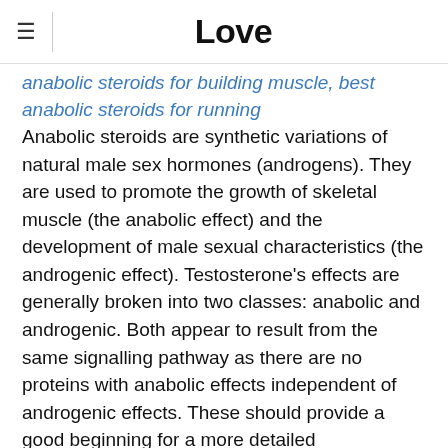Love
anabolic steroids for building muscle, best anabolic steroids for running Anabolic steroids are synthetic variations of natural male sex hormones (androgens). They are used to promote the growth of skeletal muscle (the anabolic effect) and the development of male sexual characteristics (the androgenic effect). Testosterone's effects are generally broken into two classes: anabolic and androgenic. Both appear to result from the same signalling pathway as there are no proteins with anabolic effects independent of androgenic effects. These should provide a good beginning for a more detailed investigation of anabolic steroid behavior. Steroid users also typically coadminister drugs such as 5 -reductase inhibitors (fi-nasteride) to minimize untoward effects of steroids, as well as. Canadian middleweight marc-andre (power bar) barriault is blaming a positive drug test. Ostarine is